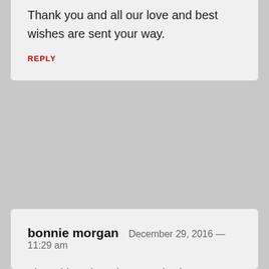Thank you and all our love and best wishes are sent your way.
REPLY
bonnie morgan  December 29, 2016 — 11:29 am
I loved hearing about each piece on your table. Nice stories of special memories. I especially liked what your Daddy said when he saw you admiring the crystal goblet. That warms my heart as does how you cherish each piece that belonged to your